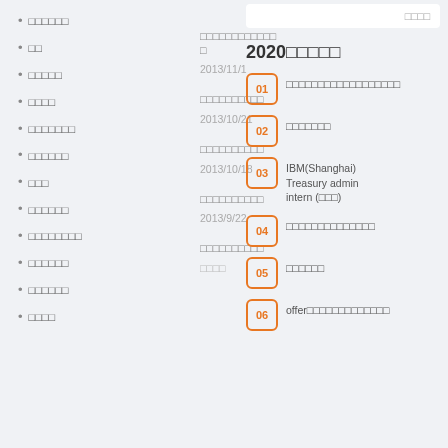□□□□□□
□□
□□□□□
□□□□
□□□□□□□
□□□□□□
□□□
□□□□□□
□□□□□□□□
□□□□□□
□□□□□□
□□□□
□□□□□□□□□□□□
□
2013/11/1
□□□□□□□□□□
2013/10/21
□□□□□□□□□□
2013/10/18
□□□□□□□□□□
2013/9/22
□□□□□□□□□□
□□□□
2020□□□□□
01 □□□□□□□□□□□□□□□□□□
02 □□□□□□□
03 IBM(Shanghai) Treasury admin intern (□□□)
04 □□□□□□□□□□□□□□
05 □□□□□□
06 offer□□□□□□□□□□□□□